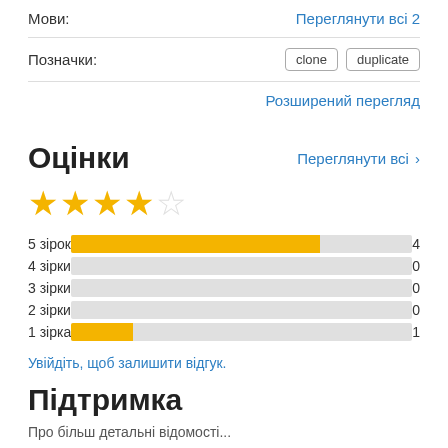Мови:
Переглянути всі 2
Позначки:
clone   duplicate
Розширений перегляд
Оцінки
Переглянути всі >
[Figure (bar-chart): Ratings breakdown]
Увійдіть, щоб залишити відгук.
Підтримка
Про більш детальні відомості...